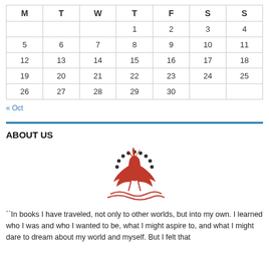| M | T | W | T | F | S | S |
| --- | --- | --- | --- | --- | --- | --- |
|  |  |  | 1 | 2 | 3 | 4 |
| 5 | 6 | 7 | 8 | 9 | 10 | 11 |
| 12 | 13 | 14 | 15 | 16 | 17 | 18 |
| 19 | 20 | 21 | 22 | 23 | 24 | 25 |
| 26 | 27 | 28 | 29 | 30 |  |  |
« Oct
ABOUT US
[Figure (illustration): Red phoenix / bird logo with gear/sun rays around it and stylized waves below]
``In books I have traveled, not only to other worlds, but into my own. I learned who I was and who I wanted to be, what I might aspire to, and what I might dare to dream about my world and myself. But I felt that